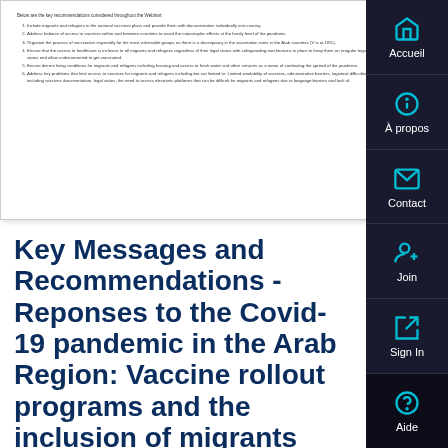[Figure (other): Preview thumbnail of a document page showing a numbered list of key recommendations related to COVID-19 vaccination and migrants/refugees.]
Key Messages and Recommendations - Reponses to the Covid-19 pandemic in the Arab Region: Vaccine rollout programs and the inclusion of migrants and refugees
The League of Arab States (LAS) and the International Organization on Migration (IOM) in partnership with the members of the Regional COVID-19 Task Force on Migration and Mobility organized a Webinar in September 2021 to shed light on the responses in Arab Region to the COVID-19 pandemic,...